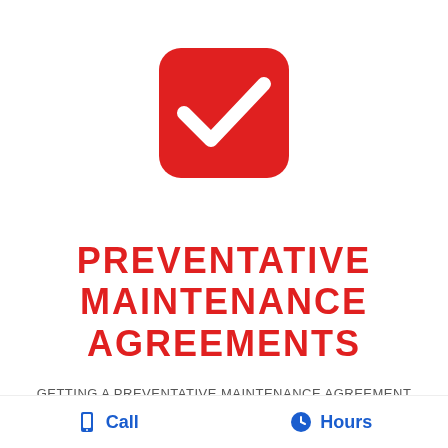[Figure (illustration): Red rounded-square checkbox icon with a white checkmark]
PREVENTATIVE MAINTENANCE AGREEMENTS
GETTING A PREVENTATIVE MAINTENANCE AGREEMENT ASSURES YOU THAT YOUR SYSTEM WILL STAY RUNNING IN TOP NOTCH CONDITION WHEN YOU NEED IT THE MOST. WE ALSO LIKE TO PUT OUR CUSTOMERS ON TOP OF THE LIST FOR BECOMING A PREVENTATIVE
Call   Hours